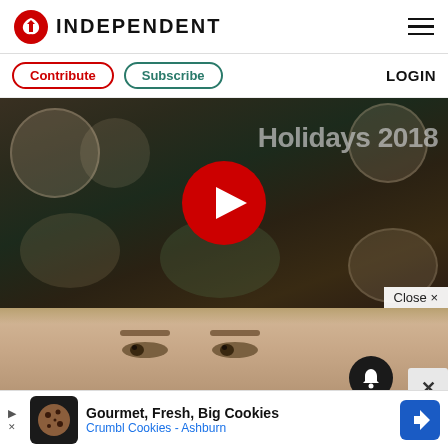INDEPENDENT
Contribute | Subscribe | LOGIN
[Figure (screenshot): Video thumbnail showing overhead view of people sharing food at a table, with text 'Holidays 2018' and a red play button in the center. A 'Close x' bar appears at the bottom right.]
[Figure (photo): Close-up photo of a woman's face (eyes and forehead visible). A notification bell button (dark circle) and a close X button are visible in the bottom right corner.]
[Figure (screenshot): Advertisement bar at the bottom: Shows a cookie icon, text 'Gourmet, Fresh, Big Cookies' and 'Crumbl Cookies - Ashburn', with a blue navigation icon on the right.]